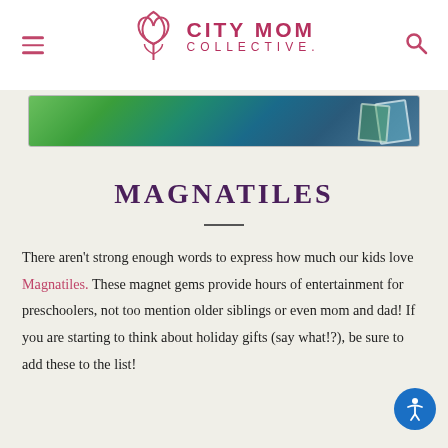CITY MOM COLLECTIVE
[Figure (photo): Partial image strip showing colorful Magnatiles in green and blue/teal hues on a white surface]
MAGNATILES
There aren't strong enough words to express how much our kids love Magnatiles. These magnet gems provide hours of entertainment for preschoolers, not too mention older siblings or even mom and dad! If you are starting to think about holiday gifts (say what!?), be sure to add these to the list!